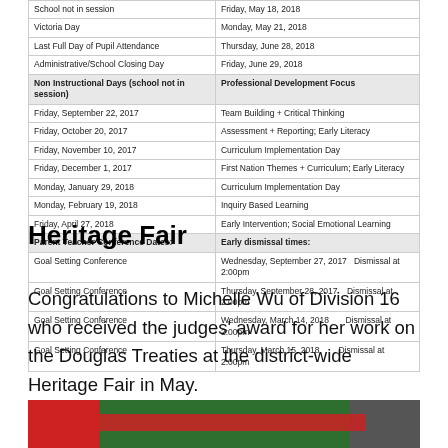|  |  |
| --- | --- |
| School not in session | Friday, May 18, 2018 |
| Victoria Day | Monday, May 21, 2018 |
| Last Full Day of Pupil Attendance | Thursday, June 28, 2018 |
| Administrative/School Closing Day | Friday, June 29, 2018 |
| Non Instructional Days (school not in session) | Professional Development Focus |
| Friday, September 22, 2017 | Team Building + Critical Thinking |
| Friday, October 20, 2017 | Assessment + Reporting; Early Literacy |
| Friday, November 10, 2017 | Curriculum Implementation Day |
| Friday, December 1, 2017 | First Nation Themes + Curriculum; Early Literacy |
| Monday, January 29, 2018 | Curriculum Implementation Day |
| Monday, February 19, 2018 | Inquiry Based Learning |
| Friday, April 27, 2018 | Early Intervention; Social Emotional Learning |
| Parent Teacher Conference Dates: | Early dismissal times: |
| Goal Setting Conference | Wednesday, September 27, 2017   Dismissal at 2:00pm |
| Goal Setting Conference | Thursday, September 28, 2017    Dismissal at 2:00pm |
| Goal Setting Conference | Wednesday, March 14, 2018        Dismissal at 2:00pm |
| Goal Setting Conference | Thursday, March 15, 2018          Dismissal at 2:00pm |
Heritage Fair
Congratulations to Michelle Wu of Division 16 who received the judges' award for her work on the Douglas Treaties at the district-wide Heritage Fair in May.
[Figure (photo): Photo of Heritage Fair display with red and green elements]